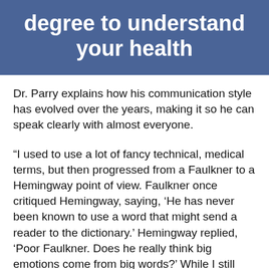degree to understand your health
Dr. Parry explains how his communication style has evolved over the years, making it so he can speak clearly with almost everyone.
“I used to use a lot of fancy technical, medical terms, but then progressed from a Faulkner to a Hemingway point of view. Faulkner once critiqued Hemingway, saying, ‘He has never been known to use a word that might send a reader to the dictionary.’ Hemingway replied, ‘Poor Faulkner. Does he really think big emotions come from big words?’ While I still tend to over-